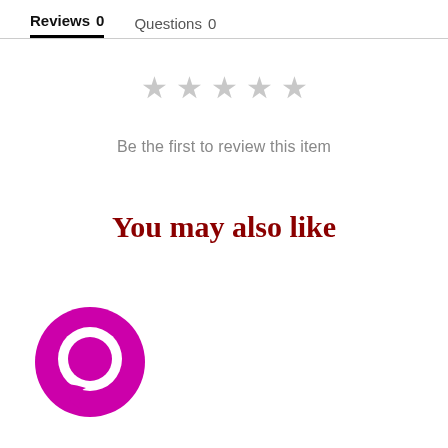Reviews  0     Questions  0
[Figure (other): Five empty gray star rating icons]
Be the first to review this item
You may also like
[Figure (logo): Pink/magenta circular chat bubble logo icon]